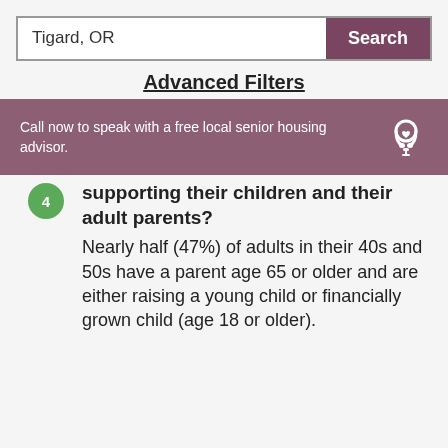Tigard, OR
Search
Advanced Filters
Call now to speak with a free local senior housing advisor.
supporting their children and their adult parents? Nearly half (47%) of adults in their 40s and 50s have a parent age 65 or older and are either raising a young child or financially grown child (age 18 or older).
view map